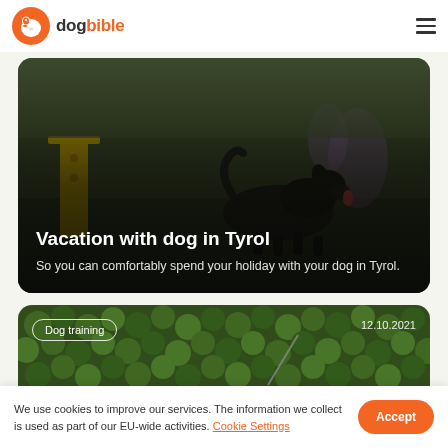dogbible
[Figure (photo): Black dog running in an outdoor agility course with green grass background, with text overlay: 'Vacation with dog in Tyrol' and subtitle 'So you can comfortably spend your holiday with your dog in Tyrol.']
Vacation with dog in Tyrol
So you can comfortably spend your holiday with your dog in Tyrol.
[Figure (photo): Dog partially visible against green ivy/foliage background, with badge 'Dog training' and date '12.10.2021']
We use cookies to improve our services. The information we collect is used as part of our EU-wide activities. Cookie Settings